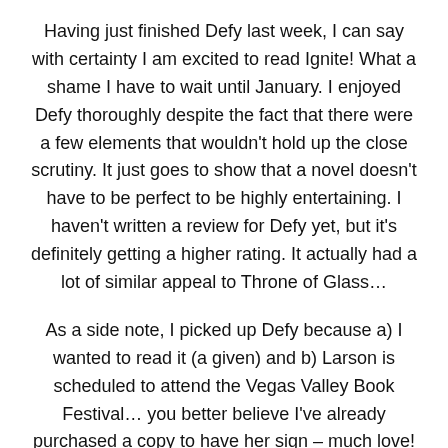Having just finished Defy last week, I can say with certainty I am excited to read Ignite! What a shame I have to wait until January. I enjoyed Defy thoroughly despite the fact that there were a few elements that wouldn't hold up the close scrutiny. It just goes to show that a novel doesn't have to be perfect to be highly entertaining. I haven't written a review for Defy yet, but it's definitely getting a higher rating. It actually had a lot of similar appeal to Throne of Glass…
As a side note, I picked up Defy because a) I wanted to read it (a given) and b) Larson is scheduled to attend the Vegas Valley Book Festival… you better believe I've already purchased a copy to have her sign – much love! :-)
What do you say to it...?